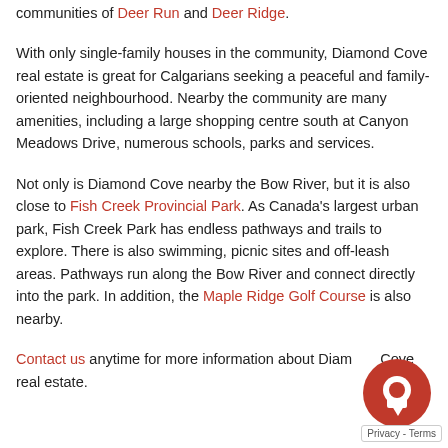communities of Deer Run and Deer Ridge.
With only single-family houses in the community, Diamond Cove real estate is great for Calgarians seeking a peaceful and family-oriented neighbourhood. Nearby the community are many amenities, including a large shopping centre south at Canyon Meadows Drive, numerous schools, parks and services.
Not only is Diamond Cove nearby the Bow River, but it is also close to Fish Creek Provincial Park. As Canada's largest urban park, Fish Creek Park has endless pathways and trails to explore. There is also swimming, picnic sites and off-leash areas. Pathways run along the Bow River and connect directly into the park. In addition, the Maple Ridge Golf Course is also nearby.
Contact us anytime for more information about Diamond Cove real estate.
[Figure (other): Red circular chat bubble icon in bottom right corner]